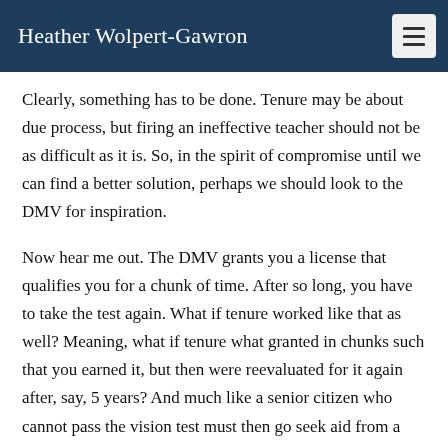Heather Wolpert-Gawron
Clearly, something has to be done. Tenure may be about due process, but firing an ineffective teacher should not be as difficult as it is. So, in the spirit of compromise until we can find a better solution, perhaps we should look to the DMV for inspiration.
Now hear me out. The DMV grants you a license that qualifies you for a chunk of time. After so long, you have to take the test again. What if tenure worked like that as well? Meaning, what if tenure what granted in chunks such that you earned it, but then were reevaluated for it again after, say, 5 years? And much like a senior citizen who cannot pass the vision test must then go seek aid from a specialist recommended by the DMV, could a teacher who is found inefficient or unsatisfactory also be recommended to seek help as well? Rather than suspend their credential while they sought help, perhaps it was their tenure